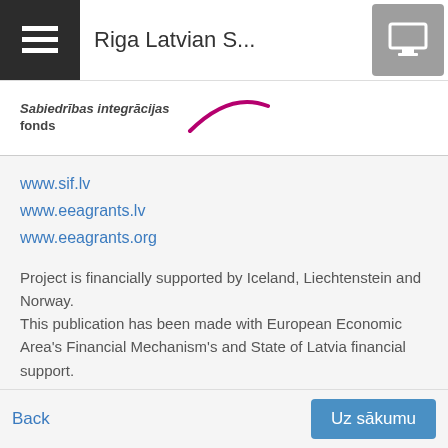Riga Latvian S...
[Figure (logo): Sabiedrības integrācijas fonds logo with stylized swoosh in dark pink/magenta]
www.sif.lv
www.eeagrants.lv
www.eeagrants.org
Project is financially supported by Iceland, Liechtenstein and Norway. This publication has been made with European Economic Area's Financial Mechanism's and State of Latvia financial support. The Riga Latvian Society is responsible for the content of the publication.
Back   Uz sākumu